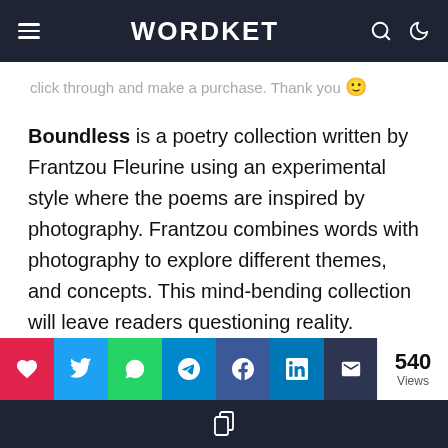WORDKET
click through and make a purchase. Thank you 🙂
Boundless is a poetry collection written by Frantzou Fleurine using an experimental style where the poems are inspired by photography. Frantzou combines words with photography to explore different themes, and concepts. This mind-bending collection will leave readers questioning reality.
Privacy & Cookies: This site uses cookies. By continuing to use this website, you agree to their use. To find out more, including privacy and
540 Views